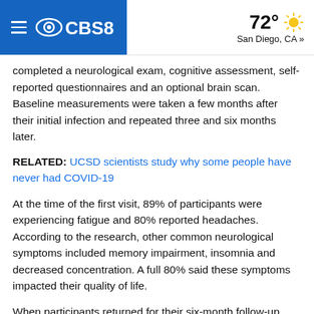CBS8 | 72° San Diego, CA »
completed a neurological exam, cognitive assessment, self-reported questionnaires and an optional brain scan. Baseline measurements were taken a few months after their initial infection and repeated three and six months later.
RELATED: UCSD scientists study why some people have never had COVID-19
At the time of the first visit, 89% of participants were experiencing fatigue and 80% reported headaches. According to the research, other common neurological symptoms included memory impairment, insomnia and decreased concentration. A full 80% said these symptoms impacted their quality of life.
When participants returned for their six-month follow-up, only one-third reported complete resolution of symptoms. The other two-thirds reported persistent neurological